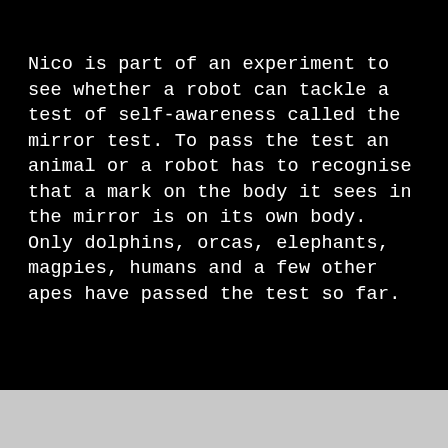Nico is part of an experiment to see whether a robot can tackle a test of self-awareness called the mirror test. To pass the test an animal or a robot has to recognise that a mark on the body it sees in the mirror is on its own body. Only dolphins, orcas, elephants, magpies, humans and a few other apes have passed the test so far.